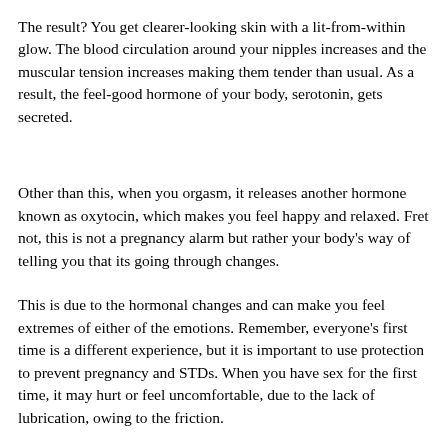The result? You get clearer-looking skin with a lit-from-within glow. The blood circulation around your nipples increases and the muscular tension increases making them tender than usual. As a result, the feel-good hormone of your body, serotonin, gets secreted.
Other than this, when you orgasm, it releases another hormone known as oxytocin, which makes you feel happy and relaxed. Fret not, this is not a pregnancy alarm but rather your body's way of telling you that its going through changes.
This is due to the hormonal changes and can make you feel extremes of either of the emotions. Remember, everyone's first time is a different experience, but it is important to use protection to prevent pregnancy and STDs. When you have sex for the first time, it may hurt or feel uncomfortable, due to the lack of lubrication, owing to the friction.
If sex continues to be painful for you, you can either try different angles or positions to reduce the discomfort and ask your partner to go slow when it comes to penetration. Always seek an expert